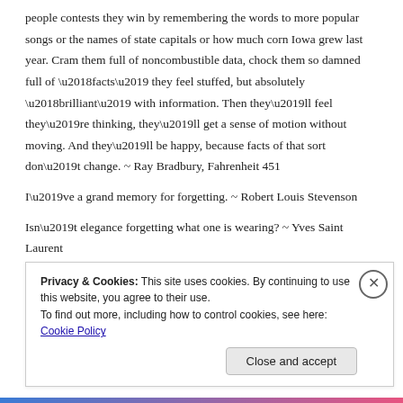people contests they win by remembering the words to more popular songs or the names of state capitals or how much corn Iowa grew last year. Cram them full of noncombustible data, chock them so damned full of ‘facts’ they feel stuffed, but absolutely ‘brilliant’ with information. Then they’ll feel they’re thinking, they’ll get a sense of motion without moving. And they’ll be happy, because facts of that sort don’t change. ~ Ray Bradbury, Fahrenheit 451
I’ve a grand memory for forgetting. ~ Robert Louis Stevenson
Isn’t elegance forgetting what one is wearing? ~ Yves Saint Laurent
Originality is the fine art of remembering what you hear but forgetting where you heard it. ~ Laurence J. Peter
Privacy & Cookies: This site uses cookies. By continuing to use this website, you agree to their use. To find out more, including how to control cookies, see here: Cookie Policy
Close and accept